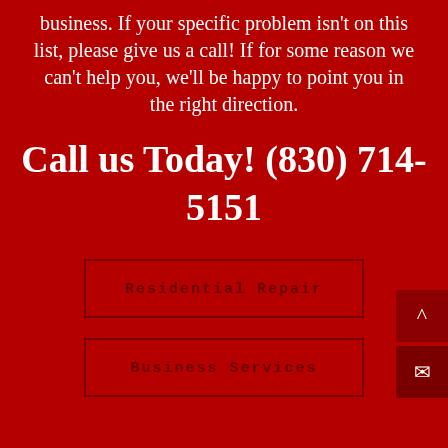business. If your specific problem isn't on this list, please give us a call! If for some reason we can't help you, we'll be happy to point you in the right direction.
Call us Today! (830) 714-5151
Residential Repair
Business Services